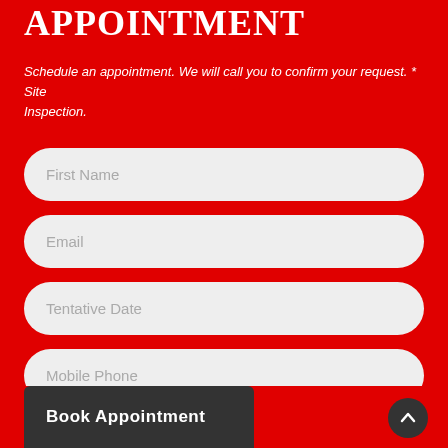APPOINTMENT
Schedule an appointment. We will call you to confirm your request. * Site Inspection.
[Figure (screenshot): Web form with four rounded input fields labeled: First Name, Email, Tentative Date, Mobile Phone; a dark gray 'Book Appointment' button at bottom left; and a scroll-up arrow button at bottom right, all on a red background.]